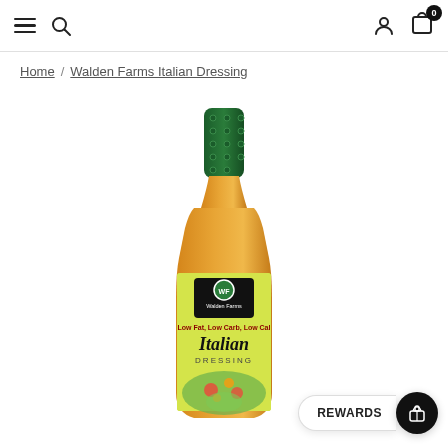Navigation bar with hamburger menu, search icon, user icon, and cart (0)
Home / Walden Farms Italian Dressing
[Figure (photo): Bottle of Walden Farms Italian Dressing with a green foil cap and yellow label reading 'Low Fat, Low Carb, Low Cal Italian Dressing' with salad imagery on the label]